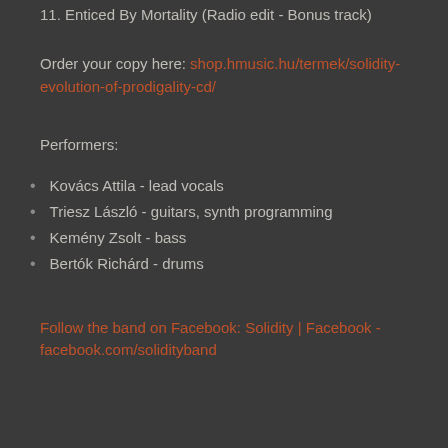11. Enticed By Mortality (Radio edit - Bonus track)
Order your copy here: shop.hmusic.hu/termek/solidity-evolution-of-prodigality-cd/
Performers:
Kovács Attila - lead vocals
Triesz László - guitars, synth programming
Kemény Zsolt - bass
Bertók Richárd - drums
Follow the band on Facebook: Solidity | Facebook - facebook.com/solidityband